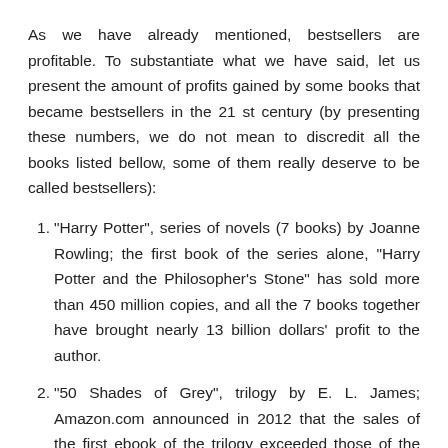As we have already mentioned, bestsellers are profitable. To substantiate what we have said, let us present the amount of profits gained by some books that became bestsellers in the 21 st century (by presenting these numbers, we do not mean to discredit all the books listed bellow, some of them really deserve to be called bestsellers):
"Harry Potter", series of novels (7 books) by Joanne Rowling; the first book of the series alone, "Harry Potter and the Philosopher's Stone" has sold more than 450 million copies, and all the 7 books together have brought nearly 13 billion dollars' profit to the author.
"50 Shades of Grey", trilogy by E. L. James; Amazon.com announced in 2012 that the sales of the first ebook of the trilogy exceeded those of the "Harry Potter" series. The author refuses to mention certain figures about her profit,